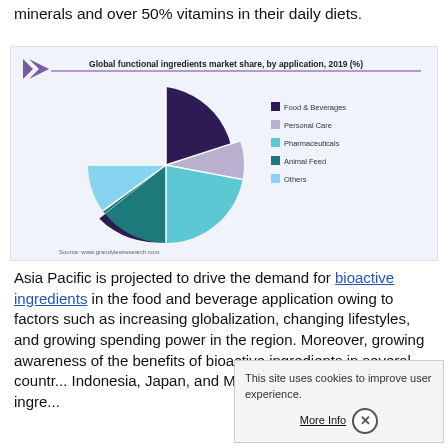minerals and over 50% vitamins in their daily diets.
[Figure (pie-chart): Global functional ingredients market share, by application, 2019 (%)]
Asia Pacific is projected to drive the demand for bioactive ingredients in the food and beverage application owing to factors such as increasing globalization, changing lifestyles, and growing spending power in the region. Moreover, growing awareness of the benefits of bioactive ingredients in several countries including China, India, Indonesia, Japan, and Malaysia has accelerated the development of these ingre...